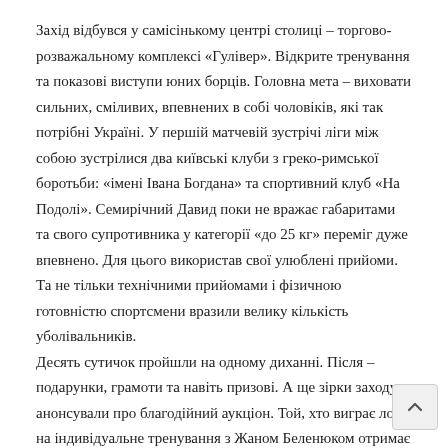Захід відбувся у самісінькому центрі столиці – торгово-розважальному комплексі «Гулівер». Відкрите тренування та показові виступи юних борців. Головна мета – виховати сильних, сміливих, впевнених в собі чоловіків, які так потрібні Україні. У першій матчевій зустрічі ліги між собою зустрілися два київські клуби з греко-римської боротьби: «імені Івана Богдана» та спортивний клуб «На Подолі». Семирічний Давид поки не вражає габаритами та свого суперника у категорії «до 25 кг» переміг дуже впевнено. Для цього використав свої улюблені прийоми. Та не тільки технічними прийомами і фізичною готовністю спортсмени вразили велику кількість уболівальників.
Десять сутичок пройшли на одному диханні. Після – подарунки, грамоти та навіть призові. А ще зірки заходу анонсували про благодійний аукціон. Той, хто виграє лот на індивідуальне тренування з Жаном Беленюком отримає незабутні емоції не тільки від спарингу з зіркою. Усі виручені кошти від події під на придбання обладнання для столичного центру мікрохірург